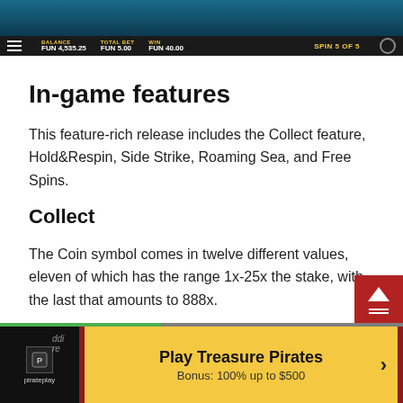[Figure (screenshot): Game screenshot showing a slot machine interface with balance FUN 4,535.25, total bet FUN 5.00, win FUN 40.00, SPIN 5 OF 5]
In-game features
This feature-rich release includes the Collect feature, Hold&Respin, Side Strike, Roaming Sea, and Free Spins.
Collect
The Coin symbol comes in twelve different values, eleven of which has the range 1x-25x the stake, with the last that amounts to 888x.
[Figure (other): Scroll-to-top button, red background with white triangle and lines]
[Figure (other): CTA banner: pirateplay logo, Play Treasure Pirates button with Bonus: 100% up to $500]